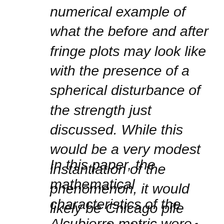numerical example of what the before and after fringe plots may look like with the presence of a spherical disturbance of the strength just discussed. While this would be a very modest instantiation of the phenomenon, it would likely be Chicago pile moment for this area of research.
In this paper, the mathematical characteristics of the Alcubierre metric were introduced and discussed, the canonical form